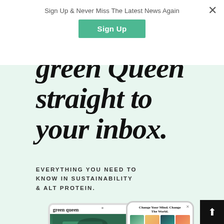Sign Up & Never Miss The Latest News Again
Sign Up
green Queen straight to your inbox.
EVERYTHING YOU NEED TO KNOW IN SUSTAINABILITY & ALT PROTEIN.
[Figure (screenshot): Mockup of a tablet showing the Green Queen website with a header logo and a food/grocery image, alongside a phone showing a newsletter signup popup titled 'Change Your Mind. Change The World.' with food imagery and signup text.]